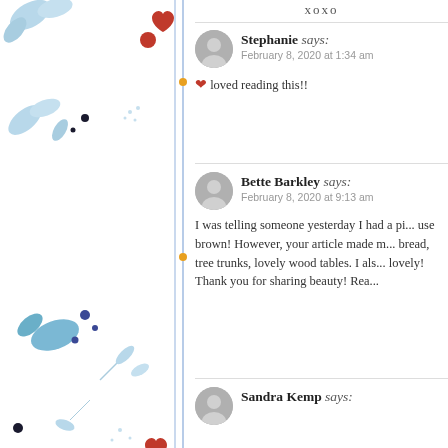xoxo
Stephanie says:
February 8, 2020 at 1:34 am
❤ loved reading this!!
Bette Barkley says:
February 8, 2020 at 9:13 am
I was telling someone yesterday I had a pi... use brown! However, your article made m... bread, tree trunks, lovely wood tables. I als... lovely! Thank you for sharing beauty! Rea...
Sandra Kemp says: